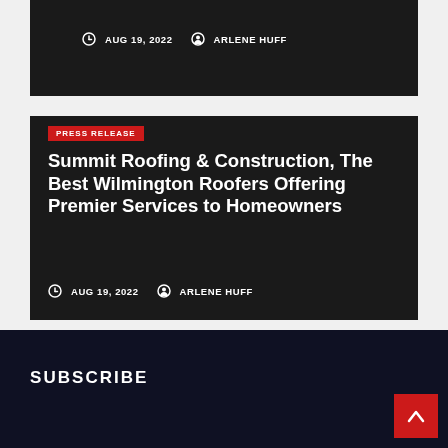AUG 19, 2022  ARLENE HUFF
PRESS RELEASE
Summit Roofing & Construction, The Best Wilmington Roofers Offering Premier Services to Homeowners
AUG 19, 2022  ARLENE HUFF
SUBSCRIBE
▲